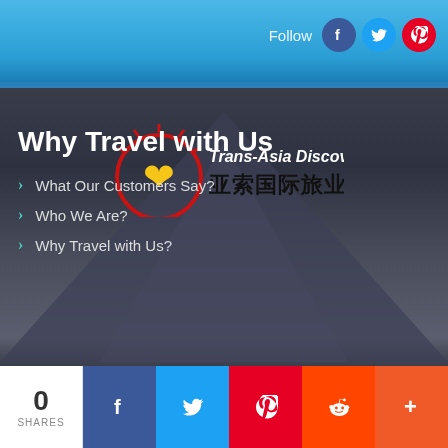Follow
[Figure (logo): Trans-Asia Discovery logo with Chinese characters 亚索国际旅业]
Why Travel with Us
What Our Customers Say?
Who We Are?
Why Travel with Us?
0 SHARES